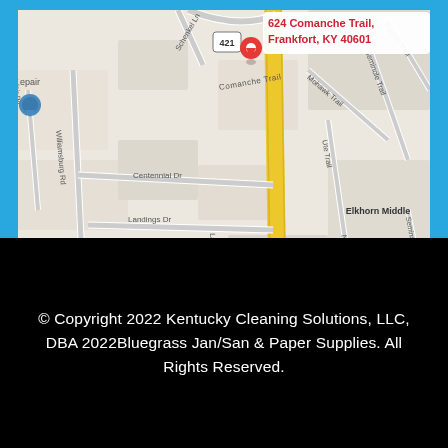[Figure (map): Google Maps showing the location of 624 Comanche Trail, Frankfort, KY 40601. The map shows surrounding streets including Schenkel Ln, Centennial Dr, Landings Dr, Chestnut Dr, Williamsburg Rd, Montclair Rd, Laurel St, Hillwood Ave, Mohawk Trail, Ute Trail, Seminole Trail, Pueblo Trail, Navajo Trail, and Comanche Trail. A red location pin marks the address. Nearby landmarks include Elkhorn Elementary School and Elkhorn Middle School. Route 421 is visible as a yellow road.]
© Copyright 2022 Kentucky Cleaning Solutions, LLC, DBA 2022Bluegrass Jan/San & Paper Supplies. All Rights Reserved.